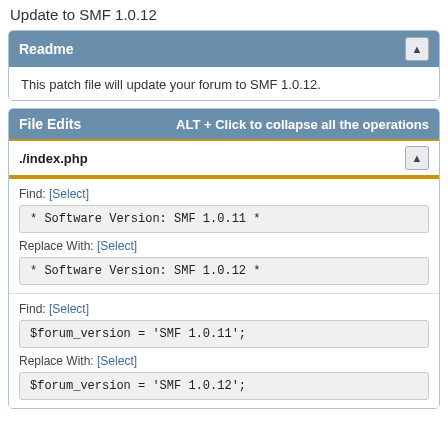Update to SMF 1.0.12
Readme
This patch file will update your forum to SMF 1.0.12.
File Edits   ALT + Click to collapse all the operations
./index.php
Find: [Select]
* Software Version: SMF 1.0.11 *
Replace With: [Select]
* Software Version: SMF 1.0.12 *
Find: [Select]
$forum_version = 'SMF 1.0.11';
Replace With: [Select]
$forum_version = 'SMF 1.0.12';